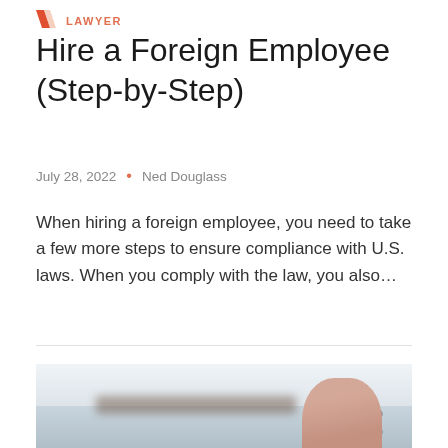LAWYER
Hire a Foreign Employee (Step-by-Step)
July 28, 2022  •  Ned Douglass
When hiring a foreign employee, you need to take a few more steps to ensure compliance with U.S. laws. When you comply with the law, you also...
[Figure (photo): Blurred photo of a person holding or touching a document on a desk, with a share icon overlay in the upper right corner.]